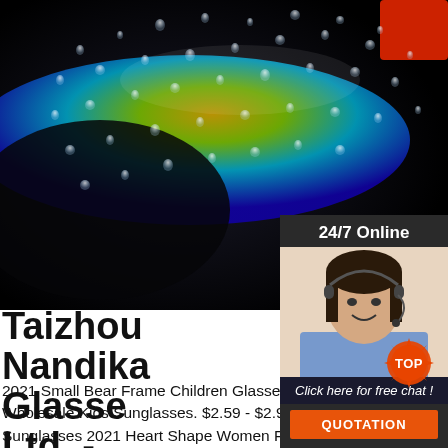[Figure (photo): Close-up photo of sunglasses lens with colorful water droplets (blue, yellow, green iridescent colors) on a black background. A red element is visible at the top right.]
[Figure (infographic): 24/7 Online chat widget showing a smiling woman wearing a headset, with text 'Click here for free chat!' and an orange QUOTATION button.]
Taizhou Nandika Glasses Ltd. - Sunglasses ...
2021 Small Bear Frame Children Glasses Cheap Baby China Wholesale Kids Sunglasses. $2.59 - $2.99 Piece. ... Metal Sunglasses 2021 Heart Shape Women Fashion Custom Brand Love Frame Sun Glasses. $1.99